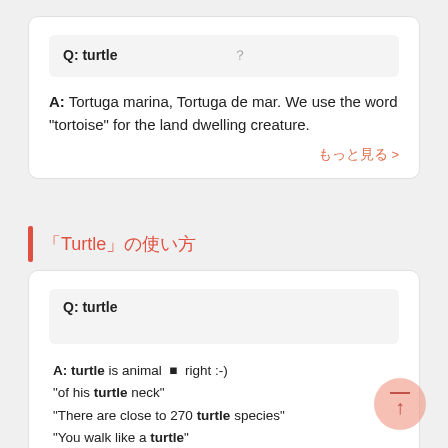Q: turtle 　　　　　　　　　？
A: Tortuga marina, Tortuga de mar. We use the word "tortoise" for the land dwelling creature.
もっと見る >
「Turtle」の使い方
Q: turtle
A: turtle is animal 　right :-)
"of his turtle neck"
"There are close to 270 turtle species"
"You walk like a turtle"